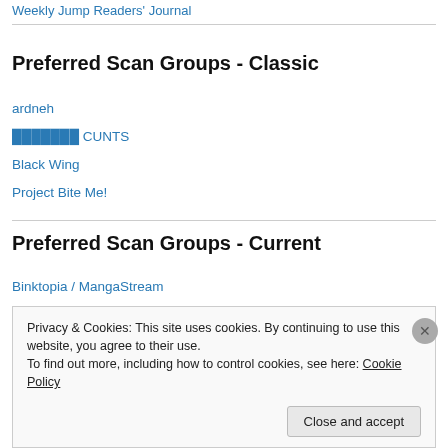Weekly Jump Readers' Journal
Preferred Scan Groups - Classic
ardneh
░░░░░░░ CUNTS
Black Wing
Project Bite Me!
Preferred Scan Groups - Current
Binktopia / MangaStream
Privacy & Cookies: This site uses cookies. By continuing to use this website, you agree to their use. To find out more, including how to control cookies, see here: Cookie Policy
Close and accept